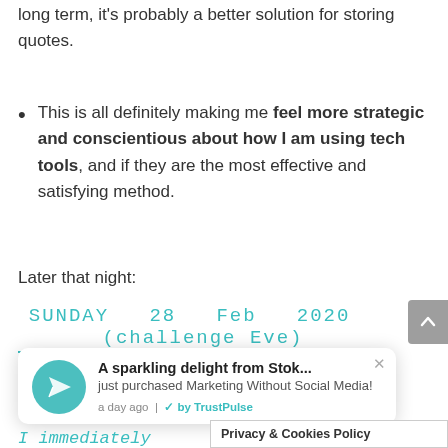long term, it’s probably a better solution for storing quotes.
This is all definitely making me feel more strategic and conscientious about how I am using tech tools, and if they are the most effective and satisfying method.
Later that night:
[Figure (other): Handwritten diary entry header reading: SUNDAY 28 Feb 2020 (challenge Eve) in teal/turquoise handwriting style with underline]
[Figure (screenshot): TrustPulse notification popup: 'A sparkling delight from Stok... just purchased Marketing Without Social Media! a day ago | by TrustPulse' with a teal paper airplane icon and close button]
I immediately